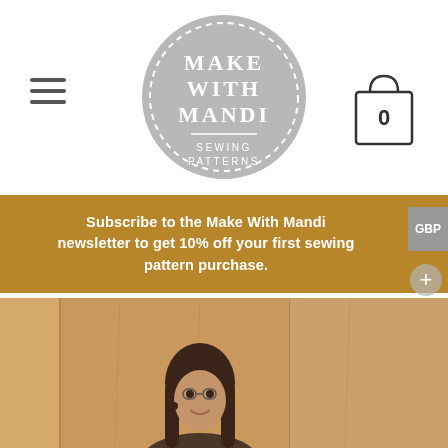[Figure (logo): Make With Mandi Sewing Patterns circular logo in grey with dashed border]
[Figure (illustration): Shopping bag icon with '0' inside, outline style]
Subscribe to the Make With Mandi newsletter to get 10% off your first sewing pattern purchase.
[Figure (photo): Photo of a smiling woman with long dark hair standing in front of wooden panel background]